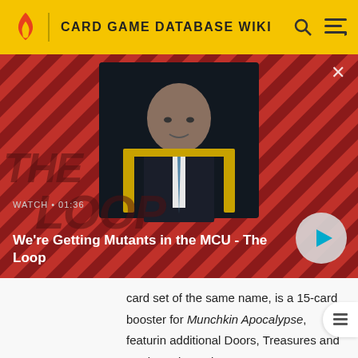CARD GAME DATABASE WIKI
[Figure (screenshot): Video thumbnail showing a bald man in a suit seated in a chair, against a red and black diagonal striped background. Overlay text reads 'WATCH • 01:36' and 'We're Getting Mutants in the MCU - The Loop'. A play button is visible in the lower right.]
card set of the same name, is a 15-card booster for Munchkin Apocalypse, featuring additional Doors, Treasures and Seals. Released January 2014.
Munchkin Legends